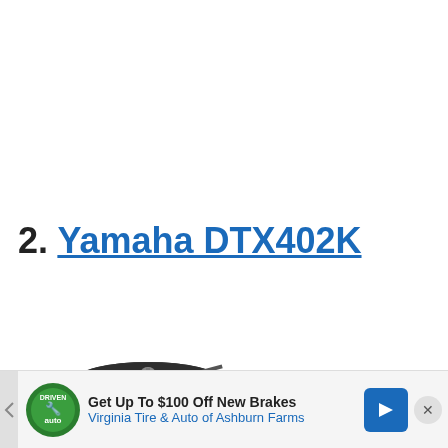2. Yamaha DTX402K
[Figure (photo): Yamaha DTX402K electronic drum kit showing cymbals, drum module/brain unit, and drum pads on a rack stand]
Get Up To $100 Off New Brakes — Virginia Tire & Auto of Ashburn Farms (advertisement banner)